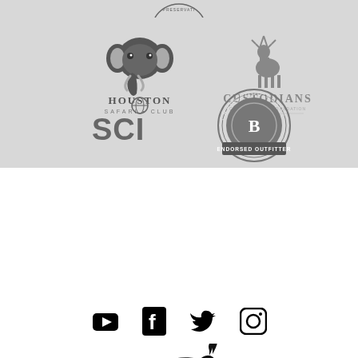[Figure (logo): Houston Safari Club logo - elephant head with text HOUSTON SAFARI CLUB]
[Figure (logo): Custodians Foundation logo - deer with text CUSTODIANS]
[Figure (logo): SCI logo with globe]
[Figure (logo): Craig Boddington Endorsed Outfitter circular badge logo]
[Figure (logo): John X Safaris logo - running antelope over arc with text JOHN X SAFARIS]
[Figure (illustration): Social media icons: YouTube, Facebook, Twitter, Instagram]